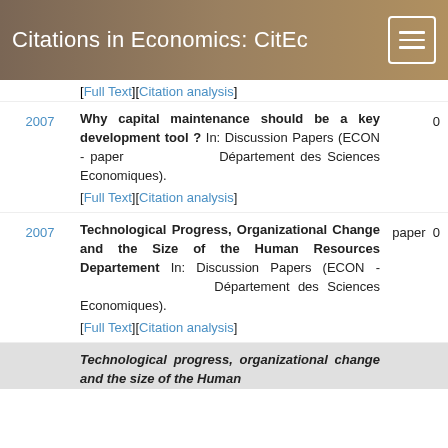Citations in Economics: CitEc
[Full Text][Citation analysis]
2007 — Why capital maintenance should be a key development tool? In: Discussion Papers (ECON - paper 0 Département des Sciences Economiques). [Full Text][Citation analysis]
2007 — Technological Progress, Organizational Change and the Size of the Human Resources Departement In: Discussion Papers (ECON - paper 0 Département des Sciences Economiques). [Full Text][Citation analysis]
Technological progress, organizational change and the size of the Human